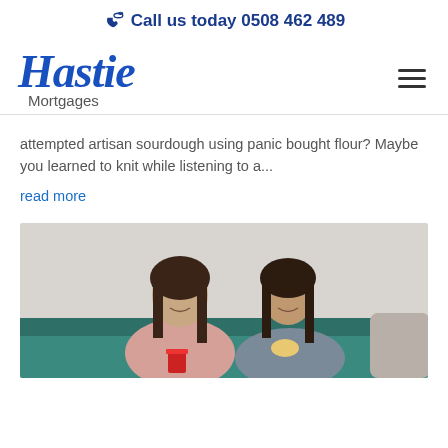Call us today 0508 462 489
[Figure (logo): Hastie Mortgages logo with italic blue Hastie text and grey Mortgages text below]
attempted artisan sourdough using panic bought flour? Maybe you learned to knit while listening to a...
read more
[Figure (photo): Two young women sitting on a teal couch smiling; one holding a red cup, the other eating. Light background.]